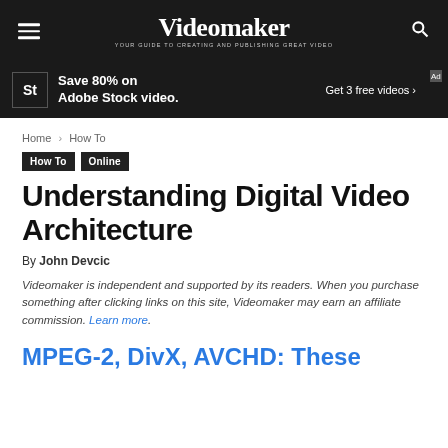Videomaker — YOUR GUIDE TO CREATING AND PUBLISHING GREAT VIDEO
[Figure (other): Adobe Stock advertisement banner: Save 80% on Adobe Stock video. Get 3 free videos.]
Home › How To
How To
Online
Understanding Digital Video Architecture
By John Devcic
Videomaker is independent and supported by its readers. When you purchase something after clicking links on this site, Videomaker may earn an affiliate commission. Learn more.
MPEG-2, DivX, AVCHD: These